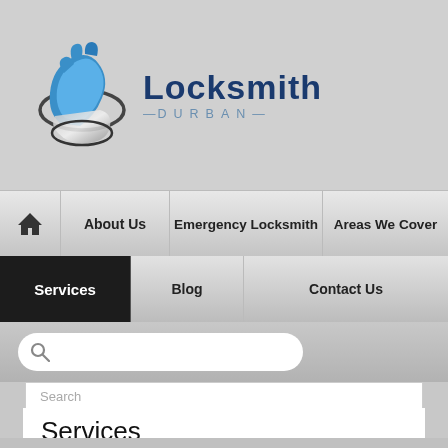[Figure (logo): Locksmith Durban logo with stylized key/hand icon in blue and silver, company name in dark blue bold text, DURBAN in spaced gray letters below]
Home | About Us | Emergency Locksmith | Areas We Cover | Services | Blog | Contact Us
Search
Services
More than just a Locksmith
We are more than just your standard locksmiths. We have the experience and the manpower to cover all eventualities, domestic and commercial jobs no matter how big or small. Not only do we offer our services around the clock, we also come fully equip with a fully mobile workshop, state of the art equipment and plenty of spare locks, keys and parts to ensure the job is done